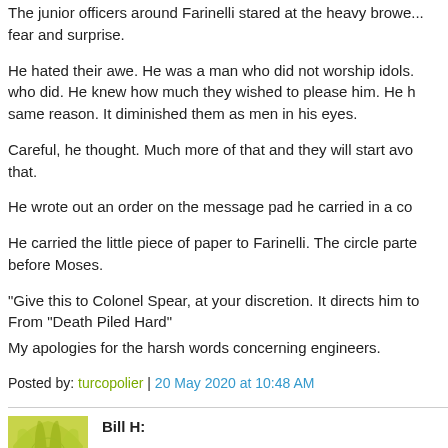The junior officers around Farinelli stared at the heavy browe... fear and surprise.
He hated their awe. He was a man who did not worship idols... who did. He knew how much they wished to please him. He h... same reason. It diminished them as men in his eyes.
Careful, he thought. Much more of that and they will start avo... that.
He wrote out an order on the message pad he carried in a co...
He carried the little piece of paper to Farinelli. The circle parte... before Moses.
"Give this to Colonel Spear, at your discretion. It directs him to... From "Death Piled Hard"
My apologies for the harsh words concerning engineers.
Posted by: turcopolier | 20 May 2020 at 10:48 AM
Bill H:
My father spent his entire working life at Allis Chalmers (exce...